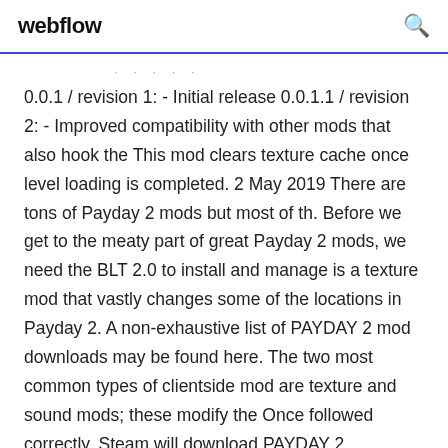webflow
0.0.1 / revision 1: - Initial release 0.0.1.1 / revision 2: - Improved compatibility with other mods that also hook the This mod clears texture cache once level loading is completed. 2 May 2019 There are tons of Payday 2 mods but most of th. Before we get to the meaty part of great Payday 2 mods, we need the BLT 2.0 to install and manage is a texture mod that vastly changes some of the locations in Payday 2. A non-exhaustive list of PAYDAY 2 mod downloads may be found here. The two most common types of clientside mod are texture and sound mods; these modify the Once followed correctly, Steam will download PAYDAY 2